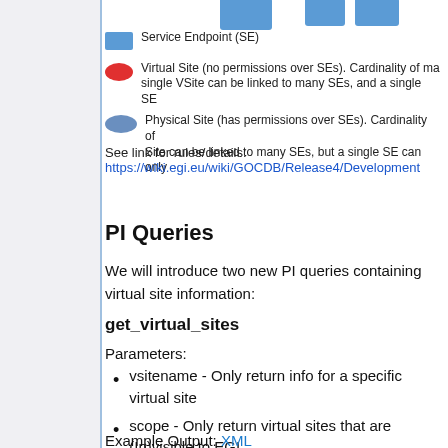[Figure (diagram): Legend showing Service Endpoint (SE) as blue rectangle, Virtual Site as red circle, Physical Site as blue-grey ellipse with partial descriptions cut off]
See link for rules/details:
https://wiki.egi.eu/wiki/GOCDB/Release4/Development
PI Queries
We will introduce two new PI queries containing virtual site information:
get_virtual_sites
Parameters:
vsitename - Only return info for a specific virtual site
scope - Only return virtual sites that are (In)visible to EGI
Example Output: XML